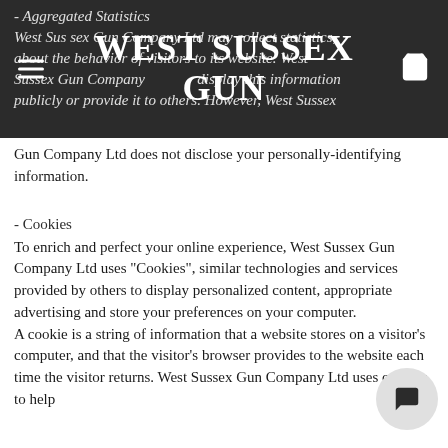WEST SUSSEX GUN
- Aggregated Statistics
West Sussex Gun Company Ltd may collect statistics about the behavior of visitors to its website. West Sussex Gun Company Ltd may display this information publicly or provide it to others. However, West Sussex Gun Company Ltd does not disclose your personally-identifying information.
- Cookies
To enrich and perfect your online experience, West Sussex Gun Company Ltd uses "Cookies", similar technologies and services provided by others to display personalized content, appropriate advertising and store your preferences on your computer.
A cookie is a string of information that a website stores on a visitor's computer, and that the visitor's browser provides to the website each time the visitor returns. West Sussex Gun Company Ltd uses cookies to help